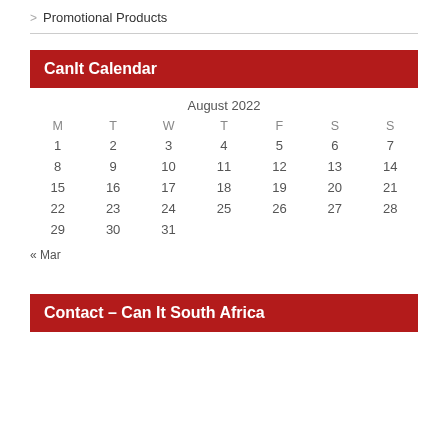> Promotional Products
CanIt Calendar
| M | T | W | T | F | S | S |
| --- | --- | --- | --- | --- | --- | --- |
| 1 | 2 | 3 | 4 | 5 | 6 | 7 |
| 8 | 9 | 10 | 11 | 12 | 13 | 14 |
| 15 | 16 | 17 | 18 | 19 | 20 | 21 |
| 22 | 23 | 24 | 25 | 26 | 27 | 28 |
| 29 | 30 | 31 |  |  |  |  |
« Mar
Contact – Can It South Africa